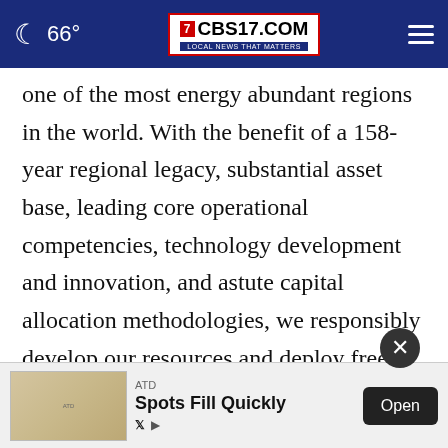🌙 66° CBS17.COM LOCAL NEWS THAT MATTERS
one of the most energy abundant regions in the world. With the benefit of a 158-year regional legacy, substantial asset base, leading core operational competencies, technology development and innovation, and astute capital allocation methodologies, we responsibly develop our resources and deploy free cash flow to create long-term per share value for our shareholders, employees, and the communities where we operate. As of December 31, 2021, CNX h... f
[Figure (other): Advertisement overlay at bottom of page. Shows ATD ad with text 'Spots Fill Quickly' and an Open button. Also shows a close (X) button circle above the ad.]